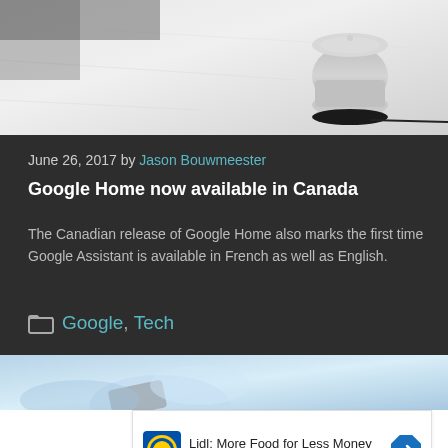[Figure (photo): Photo of a Google Home smart speaker device on a marble or light countertop surface, top portion visible]
June 26, 2017 by Jason Bouwmeester
Google Home now available in Canada
The Canadian release of Google Home also marks the first time Google Assistant is available in French as well as English.
Google, Tech
[Figure (photo): Blurred blue background photo with a partial view of a phone or tablet being held]
[Figure (other): Advertisement for Lidl: More Food for Less Money, showing Lidl logo and arrow icon]